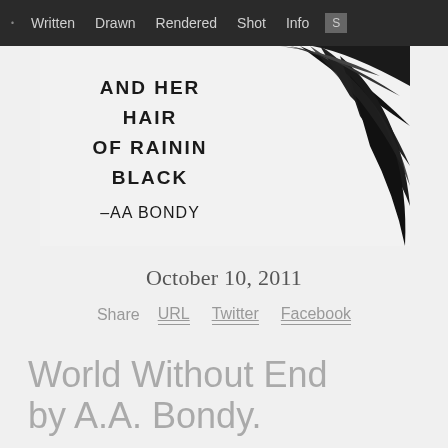. Written  Drawn  Rendered  Shot  Info  S
[Figure (photo): Black and white photo/illustration with handwritten text reading 'AND HER HAIR OF RAININ BLACK -AA BONDY' alongside dark palm leaf imagery]
October 10, 2011
Share  URL  Twitter  Facebook
World Without End by A.A. Bondy.